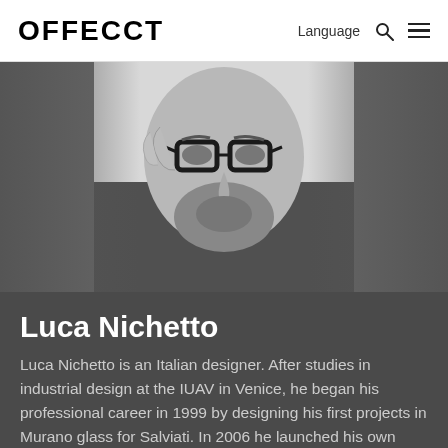OFFECCT  Language [search] [menu]
[Figure (photo): Black and white portrait of Luca Nichetto, a man with glasses and a beard, adjusting his glasses with one hand, wearing a dark t-shirt. The photo has blurred/dark edges on the sides with a lighter background center.]
Luca Nichetto
Luca Nichetto is an Italian designer. After studies in industrial design at the IUAV in Venice, he began his professional career in 1999 by designing his first projects in Murano glass for Salviati. In 2006 he launched his own design firm, Nichetto&Partners, which specializes in industrial design and offers its